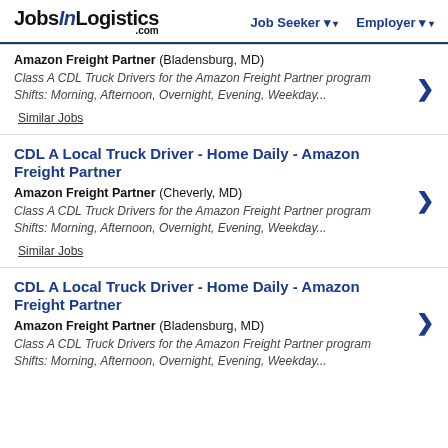JobsInLogistics.com — Job Seeker | Employer
Amazon Freight Partner (Bladensburg, MD) — Class A CDL Truck Drivers for the Amazon Freight Partner program Shifts: Morning, Afternoon, Overnight, Evening, Weekday... Similar Jobs
CDL A Local Truck Driver - Home Daily - Amazon Freight Partner
Amazon Freight Partner (Cheverly, MD) — Class A CDL Truck Drivers for the Amazon Freight Partner program Shifts: Morning, Afternoon, Overnight, Evening, Weekday... Similar Jobs
CDL A Local Truck Driver - Home Daily - Amazon Freight Partner
Amazon Freight Partner (Bladensburg, MD) — Class A CDL Truck Drivers for the Amazon Freight Partner program Shifts: Morning, Afternoon, Overnight, Evening, Weekday...